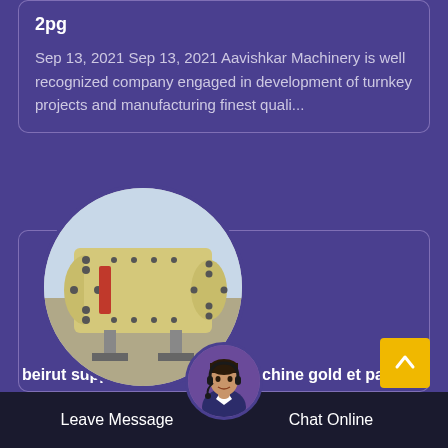2pg
Sep 13, 2021 Sep 13, 2021 Aavishkar Machinery is well recognized company engaged in development of turnkey projects and manufacturing finest quali...
[Figure (photo): Circular cropped photo of a yellow industrial ball mill machine outdoors]
beirut supplier gold mill machine gold et pa...
Leave Message   Chat Online